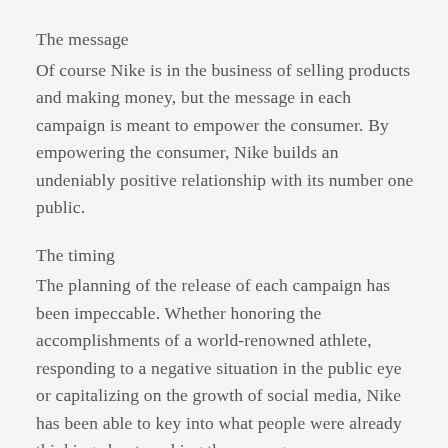The message
Of course Nike is in the business of selling products and making money, but the message in each campaign is meant to empower the consumer. By empowering the consumer, Nike builds an undeniably positive relationship with its number one public.
The timing
The planning of the release of each campaign has been impeccable. Whether honoring the accomplishments of a world-renowned athlete, responding to a negative situation in the public eye or capitalizing on the growth of social media, Nike has been able to key into what people were already thinking about, making the message